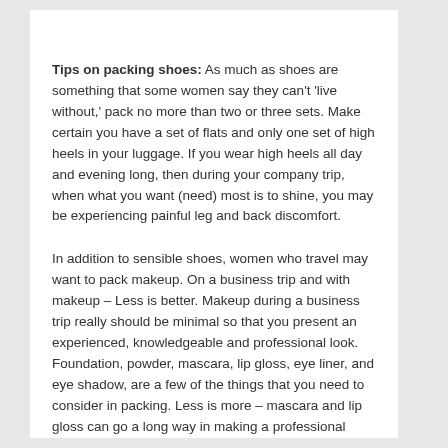Tips on packing shoes: As much as shoes are something that some women say they can't 'live without,' pack no more than two or three sets. Make certain you have a set of flats and only one set of high heels in your luggage. If you wear high heels all day and evening long, then during your company trip, when what you want (need) most is to shine, you may be experiencing painful leg and back discomfort.
In addition to sensible shoes, women who travel may want to pack makeup. On a business trip and with makeup – Less is better. Makeup during a business trip really should be minimal so that you present an experienced, knowledgeable and professional look. Foundation, powder, mascara, lip gloss, eye liner, and eye shadow, are a few of the things that you need to consider in packing. Less is more – mascara and lip gloss can go a long way in making a professional